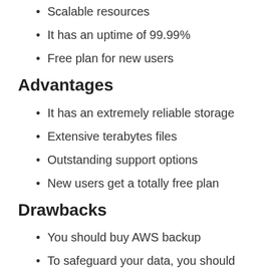Scalable resources
It has an uptime of 99.99%
Free plan for new users
Advantages
It has an extremely reliable storage
Extensive terabytes files
Outstanding support options
New users get a totally free plan
Drawbacks
You should buy AWS backup
To safeguard your data, you should acquire data security software application